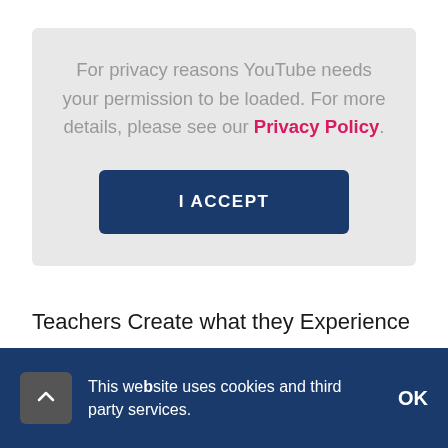For privacy reasons YouTube needs your permission to be loaded. For more details, please see our Privacy Policy.
I ACCEPT
Teachers Create what they Experience
This website uses cookies and third party services.
OK